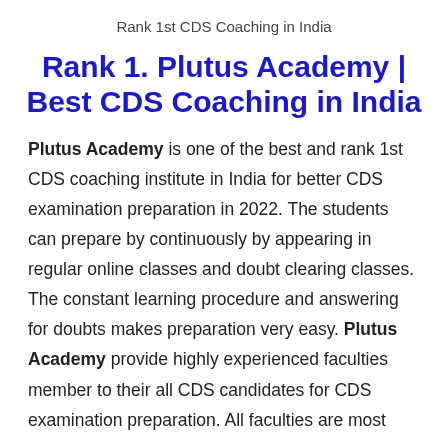Rank 1st CDS Coaching in India
Rank 1. Plutus Academy | Best CDS Coaching in India
Plutus Academy is one of the best and rank 1st CDS coaching institute in India for better CDS examination preparation in 2022. The students can prepare by continuously by appearing in regular online classes and doubt clearing classes. The constant learning procedure and answering for doubts makes preparation very easy. Plutus Academy provide highly experienced faculties member to their all CDS candidates for CDS examination preparation. All faculties are most